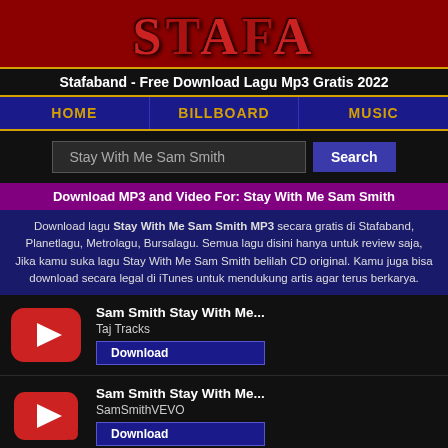STAFA
Stafaband - Free Download Lagu Mp3 Gratis 2022
HOME | BILLBOARD | MUSIC
Stay With Me Sam Smith [Search]
Download MP3 and Video For: Stay With Me Sam Smith
Download lagu Stay With Me Sam Smith MP3 secara gratis di Stafaband, Planetlagu, Metrolagu, Bursalagu. Semua lagu disini hanya untuk review saja, Jika kamu suka lagu Stay With Me Sam Smith belilah CD original. Kamu juga bisa download secara legal di iTunes untuk mendukung artis agar terus berkarya.
Sam Smith Stay With Me... - Taj Tracks - Download
Sam Smith Stay With Me... - SamSmithVEVO - Download
Sam Smith Stay With Me... - BBC Music - Download